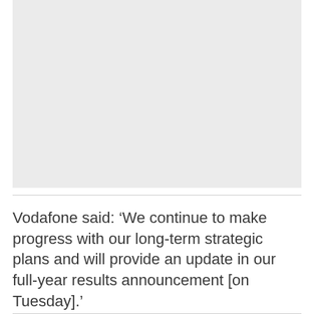[Figure (other): Large empty grey placeholder image area]
Vodafone said: ‘We continue to make progress with our long-term strategic plans and will provide an update in our full-year results announcement [on Tuesday].’